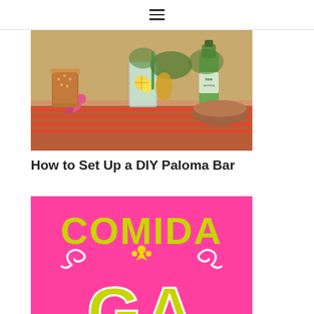≡
[Figure (photo): Photo of a colorful Mexican drink bar setup with copper mugs, glasses with lemon slices, flowers, and beverages on a table with a striped cloth.]
How to Set Up a DIY Paloma Bar
[Figure (photo): Bright pink background with yellow-green lettering reading 'COMIDA' at the top and partially visible large letters 'GA' below, with decorative white swirl and yellow crown motif in the middle.]